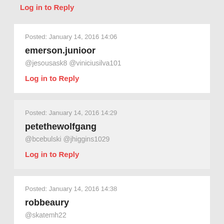Log in to Reply
Posted: January 14, 2016 14:06
emerson.junioor
@jesousask8 @viniciusilva101
Log in to Reply
Posted: January 14, 2016 14:29
petethewolfgang
@bcebulski @jhiggins1029
Log in to Reply
Posted: January 14, 2016 14:38
robbeaury
@skatemh22
Log in to Reply
Posted: January 14, 2016 15:14
dflotho